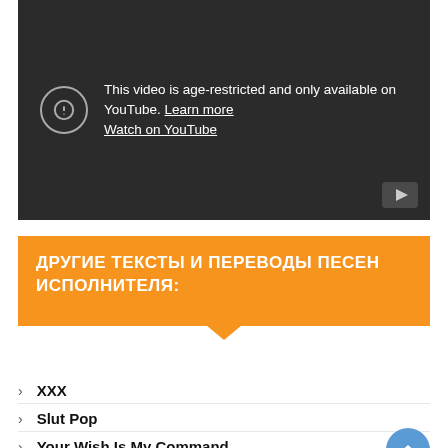[Figure (screenshot): YouTube age-restricted video embed showing warning message: 'This video is age-restricted and only available on YouTube. Learn more' and 'Watch on YouTube' link, with YouTube play button icon in bottom-right corner.]
ДРУГИЕ ТЕКСТЫ И ПЕРЕВОДЫ ПЕСЕН ИСПОЛНИТЕЛЯ:
XXX
Slut Pop
Your Wish Is My Command
Superpower Bitch